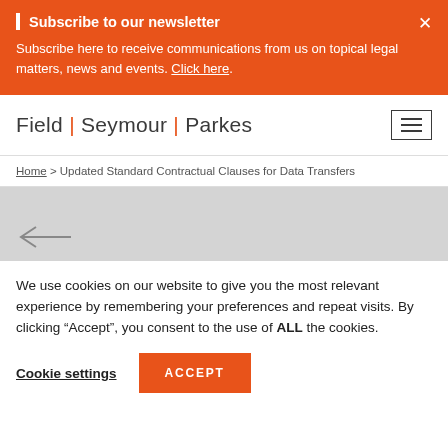Subscribe to our newsletter — Subscribe here to receive communications from us on topical legal matters, news and events. Click here.
[Figure (logo): Field Seymour Parkes law firm logo with orange vertical bar separators and hamburger menu icon]
Home > Updated Standard Contractual Clauses for Data Transfers
[Figure (illustration): Grey background area with a left-pointing arrow navigation element]
We use cookies on our website to give you the most relevant experience by remembering your preferences and repeat visits. By clicking "Accept", you consent to the use of ALL the cookies.
Cookie settings  ACCEPT